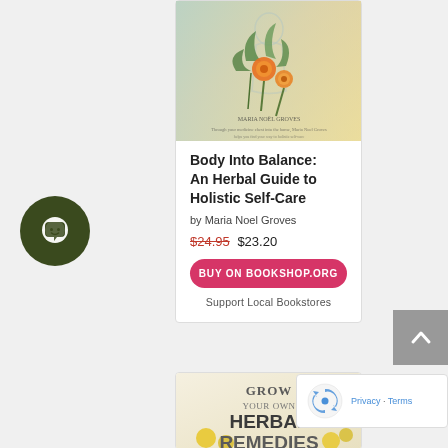[Figure (illustration): Book cover for Body Into Balance: An Herbal Guide to Holistic Self-Care by Maria Noel Groves, showing botanical illustration of herbs and flowers]
Body Into Balance: An Herbal Guide to Holistic Self-Care
by Maria Noel Groves
$24.95  $23.20
BUY ON BOOKSHOP.ORG
Support Local Bookstores
[Figure (illustration): Book cover for Grow Your Own Herbal Remedies, partially visible at bottom]
[Figure (other): Dark green circular chat bubble icon on left side]
[Figure (other): Gray back-to-top button with upward chevron on right side]
[Figure (other): Google reCAPTCHA badge with Privacy and Terms links]